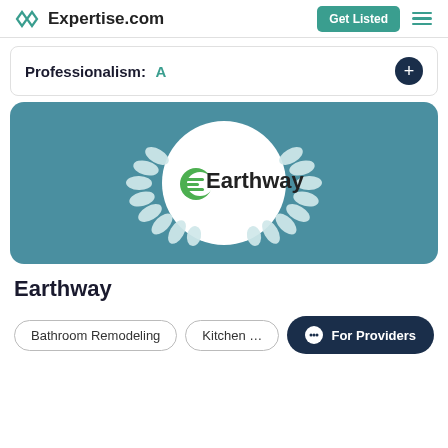Expertise.com
Professionalism: A
[Figure (logo): Earthway company logo inside a white circle with white laurel wreath, on a teal background. The logo shows a stylized green 'E' leaf icon next to the word 'Earthway'.]
Earthway
Bathroom Remodeling  Kitchen Re...
For Providers